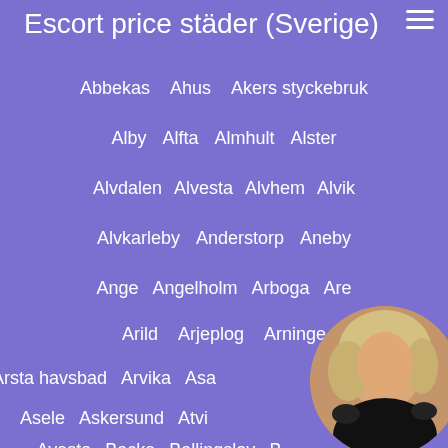Escort price städer (Sverige)
Abbekas    Ahus    Akers styckebruk
Alby    Alfta    Almhult    Alster
Alvdalen    Alvesta    Alvhem    Alvik
Alvkarleby    Anderstorp    Aneby
Ange    Angelholm    Arboga    Are
Arild    Arjeplog    Arninge
Arsta havsbad    Arvika    Asa
Asele    Askersund    Atvi
Avesta    Backe    Ballingslov    B
[Figure (photo): Circular portrait photo of a blonde woman in a black outfit, positioned in the lower right corner of the page]